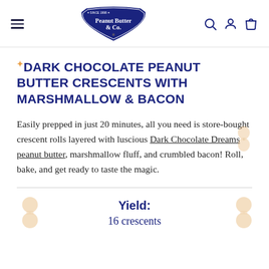Peanut Butter & Co. — Since 1998
DARK CHOCOLATE PEANUT BUTTER CRESCENTS WITH MARSHMALLOW & BACON
Easily prepped in just 20 minutes, all you need is store-bought crescent rolls layered with luscious Dark Chocolate Dreams peanut butter, marshmallow fluff, and crumbled bacon! Roll, bake, and get ready to taste the magic.
Yield:
16 crescents